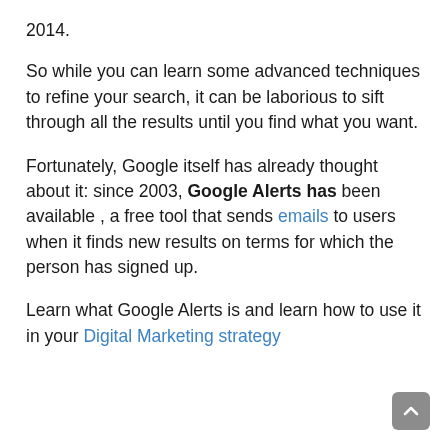2014.
So while you can learn some advanced techniques to refine your search, it can be laborious to sift through all the results until you find what you want.
Fortunately, Google itself has already thought about it: since 2003, Google Alerts has been available , a free tool that sends emails to users when it finds new results on terms for which the person has signed up.
Learn what Google Alerts is and learn how to use it in your Digital Marketing strategy